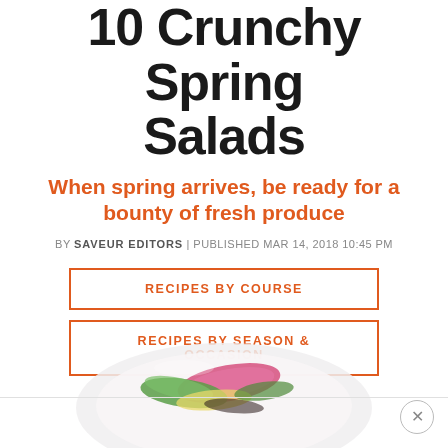10 Crunchy Spring Salads
When spring arrives, be ready for a bounty of fresh produce
BY SAVEUR EDITORS | PUBLISHED MAR 14, 2018 10:45 PM
RECIPES BY COURSE
RECIPES BY SEASON & OCCASION
[Figure (photo): A bowl of spring salad with colorful vegetables including pink radish slices, green vegetables, and yellow shavings on a white plate, partially visible at the bottom of the page.]